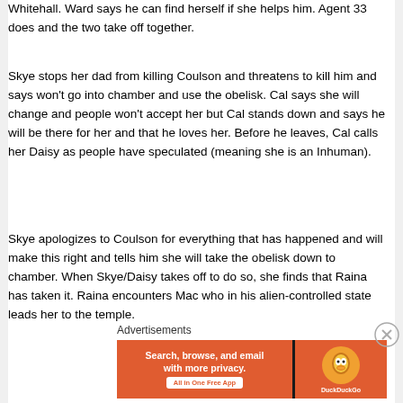Whitehall. Ward says he can find herself if she helps him. Agent 33 does and the two take off together.
Skye stops her dad from killing Coulson and threatens to kill him and says won't go into chamber and use the obelisk. Cal says she will change and people won't accept her but Cal stands down and says he will be there for her and that he loves her. Before he leaves, Cal calls her Daisy as people have speculated (meaning she is an Inhuman).
Skye apologizes to Coulson for everything that has happened and will make this right and tells him she will take the obelisk down to chamber. When Skye/Daisy takes off to do so, she finds that Raina has taken it. Raina encounters Mac who in his alien-controlled state leads her to the temple.
Advertisements
[Figure (infographic): DuckDuckGo advertisement banner: orange background with text 'Search, browse, and email with more privacy. All in One Free App' and DuckDuckGo duck logo on the right side.]